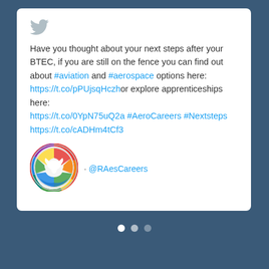[Figure (screenshot): Twitter/X bird logo icon in light grey]
Have you thought about your next steps after your BTEC, if you are still on the fence you can find out about #aviation and #aerospace options here: https://t.co/pPUjsqHczh or explore apprenticeships here: https://t.co/0YpN75uQ2a #AeroCareers #Nextsteps https://t.co/cADHm4tCf3
[Figure (logo): RAeS Careers circular rainbow-colored logo with a bird/dove silhouette]
· @RAesCareers